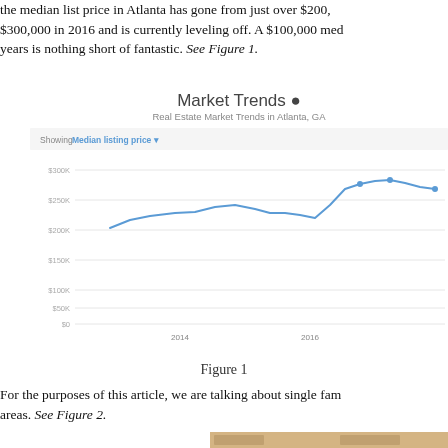the median list price in Atlanta has gone from just over $200, $300,000 in 2016 and is currently leveling off. A $100,000 med years is nothing short of fantastic. See Figure 1.
[Figure (screenshot): Market Trends chart screenshot showing Real Estate Market Trends in Atlanta, GA with a line chart of Median listing price from 2014 to 2016, rising from about $200K to about $300K]
Figure 1
For the purposes of this article, we are talking about single fam areas. See Figure 2.
[Figure (screenshot): Bottom portion of a screenshot showing another figure/chart (Figure 2), partially visible]